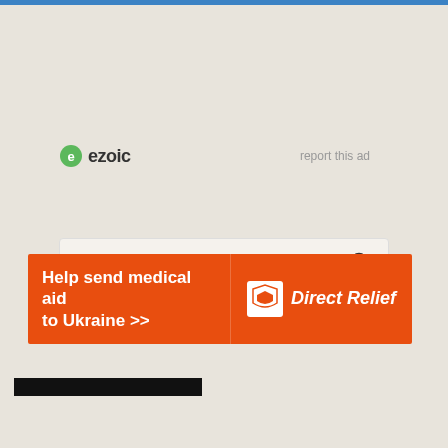[Figure (logo): Ezoic logo with green circle icon and dark text 'ezoic', with 'report this ad' link to the right]
[Figure (screenshot): Search the site input box with magnifying glass icon]
[Figure (infographic): Direct Relief banner ad: orange background with text 'Help send medical aid to Ukraine >>' and Direct Relief logo on right]